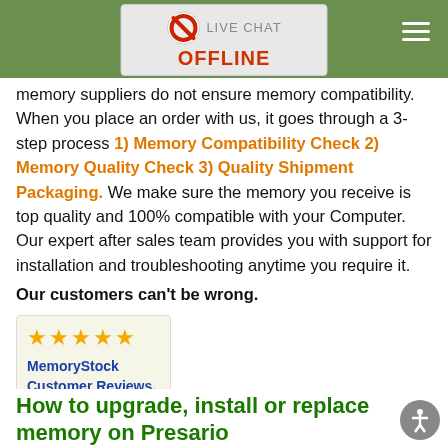LIVE CHAT OFFLINE
memory suppliers do not ensure memory compatibility. When you place an order with us, it goes through a 3-step process 1) Memory Compatibility Check 2) Memory Quality Check 3) Quality Shipment Packaging. We make sure the memory you receive is top quality and 100% compatible with your Computer. Our expert after sales team provides you with support for installation and troubleshooting anytime you require it.
Our customers can't be wrong.
[Figure (other): Five gold stars rating image with text 'MemoryStock Customer Reviews.' in blue bold text]
Check Presario 6660DK Computer compatible memory.
How to upgrade, install or replace memory on Presario